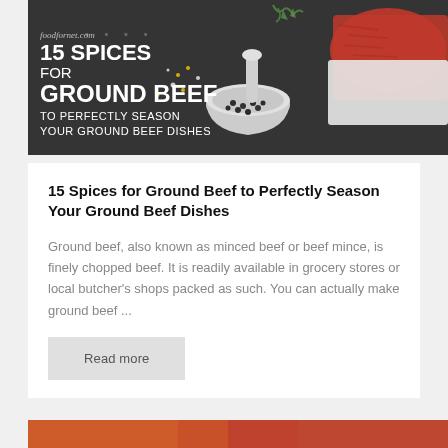[Figure (photo): Hero image showing ground beef, mortar and pestle with peppercorns, spices on a dark background. Text overlay reads: foodfornet.com, 15 SPICES FOR GROUND BEEF, TO PERFECTLY SEASON YOUR GROUND BEEF DISHES]
15 Spices for Ground Beef to Perfectly Season Your Ground Beef Dishes
Ground beef, also known as minced beef or beef mince, is finely chopped beef. It is readily available in grocery stores or local butcher's shops packed as such. You can actually make ground beef ...
Read more
[Figure (photo): Partial view of a food image at the bottom of the page]